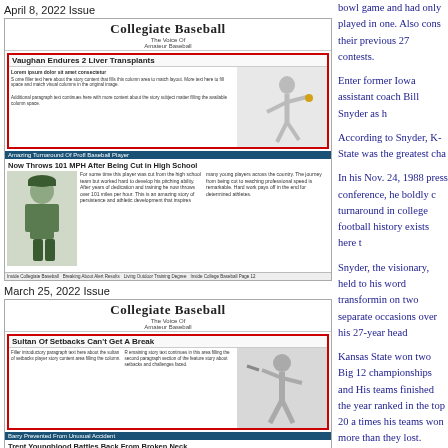[Figure (other): April 8, 2022 Issue of Collegiate Baseball magazine cover with headline 'Vaughan Endures 2 Liver Transplants' and sub-story 'Now Throws 101 MPH After Being Cut in High School']
[Figure (other): March 25, 2022 Issue of Collegiate Baseball magazine cover with headline 'Sultan Of Setbacks Can't Get A Break' and sub-story 'Trent Youngblood Battles Back From Broken Neck']
bowl game and had only played in one. Also cons their previous 27 contests.
Enter former Iowa assistant coach Bill Snyder as h
According to Snyder, K-State was the greatest cha
In his Nov. 24, 1988 press conference, he boldly c turnaround in college football history exists here t
Snyder, the visionary, held to his word transformin on two separate occasions over his 27-year head
Kansas State won two Big 12 championships and His teams finished the year ranked in the top 20 a times his teams won more than they lost.
It is the greatest example of transformation, leade collegiate athletic history and how an elite coach c
So, the question is how do perennial losing progra elite?
The answer is a simple one – hire an elite head c characterized as a serial winner, an excellence se